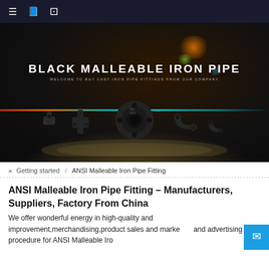Navigation bar with menu, bookmark, and search icons
[Figure (photo): Hero banner image showing black malleable iron pipe fittings on a dark dramatic background with colorful spotlight effects. Title reads BLACK MALLEABLE IRON PIPE. Subtitle: WELCOME TO BUY CAST IRON PIPE FITTINGS FROM OUR COMPANY. Various black iron pipe fittings displayed on a stage-like platform.]
» Getting started / ANSI Malleable Iron Pipe Fitting
ANSI Malleable Iron Pipe Fitting – Manufacturers, Suppliers, Factory From China
We offer wonderful energy in high-quality and improvement,merchandising,product sales and marketing and advertising and procedure for ANSI Malleable Iro…